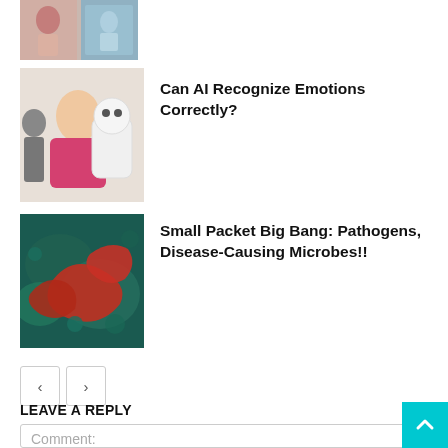[Figure (photo): Two small thumbnail images side by side at top of page]
[Figure (photo): Photo of a girl with a white robot and an adult in background]
Can AI Recognize Emotions Correctly?
[Figure (photo): Microscope image of red pathogens/bacteria on blue-green background]
Small Packet Big Bang: Pathogens, Disease-Causing Microbes!!
< >
LEAVE A REPLY
Comment: